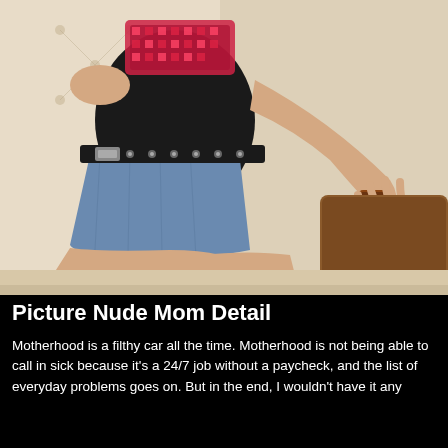[Figure (photo): A young woman sitting on a cream/white tufted leather sofa, wearing a black sleeveless top with red sequin lettering, blue denim short skirt, and a black belt with silver buckles. She has a brown leather bracelet on her right wrist and her right hand rests on a brown decorative pillow. Her face is not visible as the image is cropped at the shoulders.]
Picture Nude Mom Detail
Motherhood is a filthy car all the time. Motherhood is not being able to call in sick because it's a 24/7 job without a paycheck, and the list of everyday problems goes on. But in the end, I wouldn't have it any